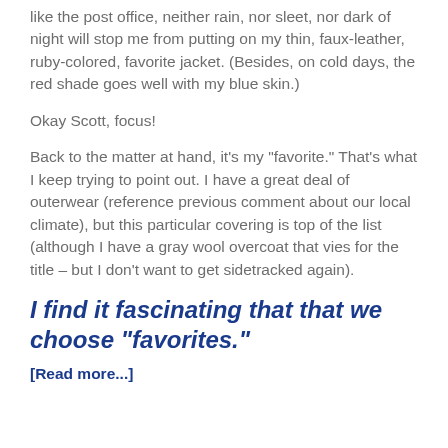like the post office, neither rain, nor sleet, nor dark of night will stop me from putting on my thin, faux-leather, ruby-colored, favorite jacket. (Besides, on cold days, the red shade goes well with my blue skin.)
Okay Scott, focus!
Back to the matter at hand, it’s my “favorite.” That’s what I keep trying to point out. I have a great deal of outerwear (reference previous comment about our local climate), but this particular covering is top of the list (although I have a gray wool overcoat that vies for the title – but I don’t want to get sidetracked again).
I find it fascinating that that we choose “favorites.”
[Read more...]